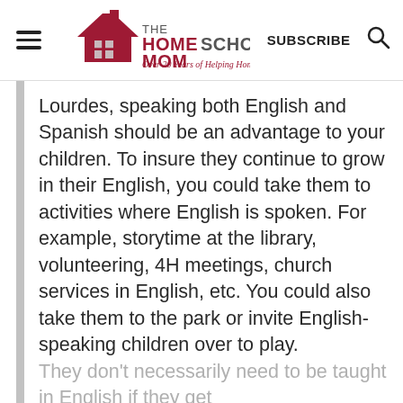THE HOMESCHOOL MOM — Over 20 Years of Helping Homeschoolers! | SUBSCRIBE
Lourdes, speaking both English and Spanish should be an advantage to your children. To insure they continue to grow in their English, you could take them to activities where English is spoken. For example, storytime at the library, volunteering, 4H meetings, church services in English, etc. You could also take them to the park or invite English-speaking children over to play. They don't necessarily need to be taught in English if they get exposure to English...